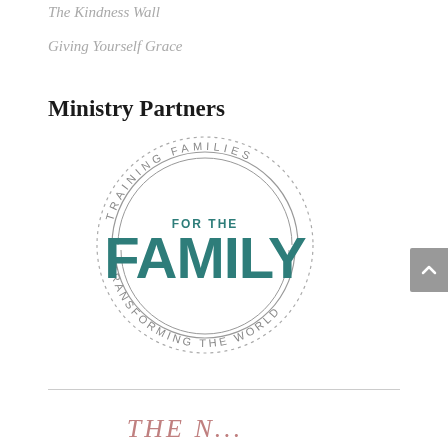The Kindness Wall
Giving Yourself Grace
Ministry Partners
[Figure (logo): For The Family circular logo with text 'TRAINING FAMILIES' arcing around top, 'TRANSFORMING THE WORLD' arcing around bottom, and bold 'FAMILY' text in teal in center with 'FOR THE' above it. Multiple concentric arc lines and dotted circle border.]
THE N...